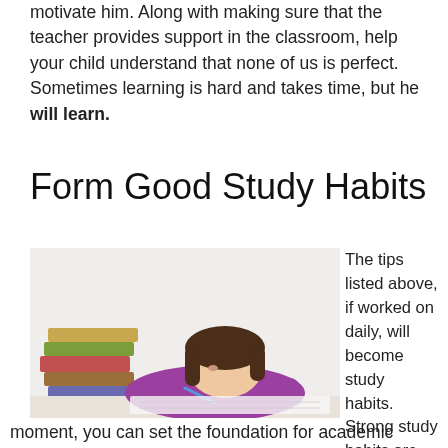motivate him. Along with making sure that the teacher provides support in the classroom, help your child understand that none of us is perfect. Sometimes learning is hard and takes time, but he will learn.
Form Good Study Habits
[Figure (photo): A student with long brown hair wearing a purple sweater, lying over a desk writing in a notebook, with a stack of books beside her.]
The tips listed above, if worked on daily, will become study habits. Strong study habits are formed through repetition. Even though your child is a creature of the moment, you can set the foundation for academic